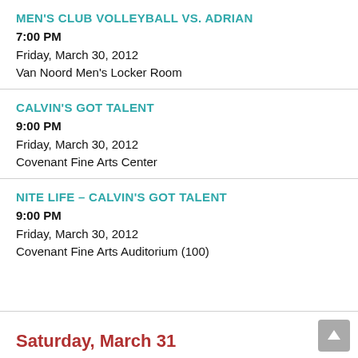MEN'S CLUB VOLLEYBALL VS. ADRIAN
7:00 PM
Friday, March 30, 2012
Van Noord Men's Locker Room
CALVIN'S GOT TALENT
9:00 PM
Friday, March 30, 2012
Covenant Fine Arts Center
NITE LIFE – CALVIN'S GOT TALENT
9:00 PM
Friday, March 30, 2012
Covenant Fine Arts Auditorium (100)
Saturday, March 31